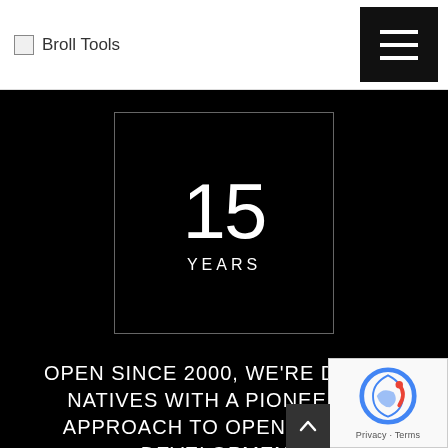Broll Tools
[Figure (infographic): Box with '15 YEARS' text inside a thin rectangular border on a black background]
OPEN SINCE 2000, WE'RE DIGITAL NATIVES WITH A PIONEERING APPROACH TO OPEN-SOURCE DEVELOPMENT.